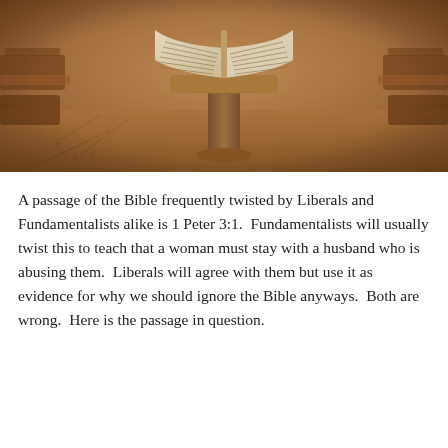[Figure (photo): Sepia-toned photograph of an open large book (likely a Torah or Bible) on a wooden lectern/stand inside what appears to be a synagogue or church interior, with wooden pews/benches visible in the background and decorative tiled floor.]
A passage of the Bible frequently twisted by Liberals and Fundamentalists alike is 1 Peter 3:1.  Fundamentalists will usually twist this to teach that a woman must stay with a husband who is abusing them.  Liberals will agree with them but use it as evidence for why we should ignore the Bible anyways.  Both are wrong.  Here is the passage in question.